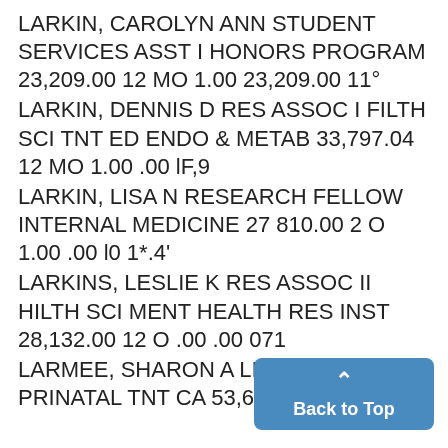LARKIN, CAROLYN ANN STUDENT SERVICES ASST I HONORS PROGRAM 23,209.00 12 MO 1.00 23,209.00 11°
LARKIN, DENNIS D RES ASSOC I FILTH SCI TNT ED ENDO & METAB 33,797.04 12 MO 1.00 .00 lF,9
LARKIN, LISA N RESEARCH FELLOW INTERNAL MEDICINE 27 810.00 2 O 1.00 .00 l0 1*.4'
LARKINS, LESLIE K RES ASSOC II HILTH SCI MENT HEALTH RES INST 28,132.00 12 O .00 .00 071
LARMEE, SHARON A LIN NURSE PRINATAL TNT CA 53,6(1.60 12